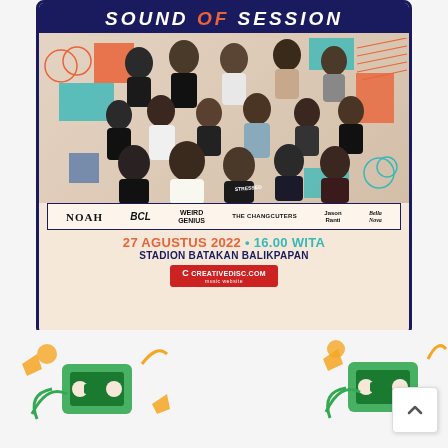[Figure (illustration): Concert event poster for 'Sound Of Session' featuring multiple Indonesian artists (NOAH, BCL, Weird Genius, The Changcuters, Jason Ranti, Bella Nova) with group photo collage, geometric decorative shapes in orange, teal, and blue. Event details: 27 Agustus 2022, 16.00 WITA, Stadion Batakan Balikpapan. Website: creativedisc.com]
[Figure (illustration): Ticket/cassette tape decorative icons visible at bottom left and bottom right of page, in orange, green and teal colors]